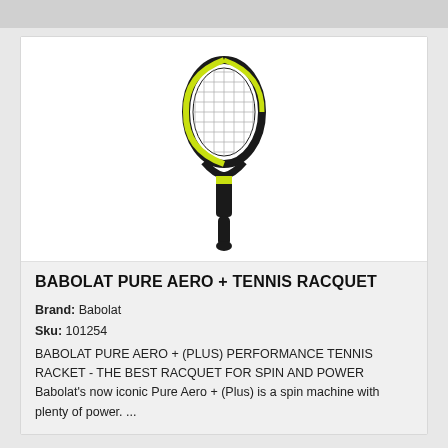[Figure (photo): Babolat Pure Aero + tennis racquet shown vertically, black and yellow/lime green color scheme, with strings visible in the head of the racquet.]
BABOLAT PURE AERO + TENNIS RACQUET
Brand: Babolat
Sku: 101254
BABOLAT PURE AERO + (PLUS) PERFORMANCE TENNIS RACKET - THE BEST RACQUET FOR SPIN AND POWER Babolat's now iconic Pure Aero + (Plus) is a spin machine with plenty of power. ...